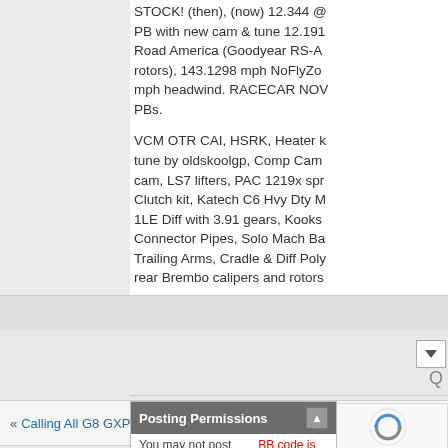STOCK! (then), (now) 12.344 @ PB with new cam & tune 12.191 Road America (Goodyear RS-A rotors), 143.1298 mph NoFlyZo mph headwind. RACECAR NOW PBs.
VCM OTR CAI, HSRK, Heater tune by oldskoolgp, Comp Cam cam, LS7 lifters, PAC 1219x spr Clutch kit, Katech C6 Hvy Dty M 1LE Diff with 3.91 gears, Kooks Connector Pipes, Solo Mach Ba Trailing Arms, Cradle & Diff Poly rear Brembo calipers and rotors
« Calling All G8 GXP Owners!!!!! | May be s
Posting Permissions
You may not post now        BB code is On